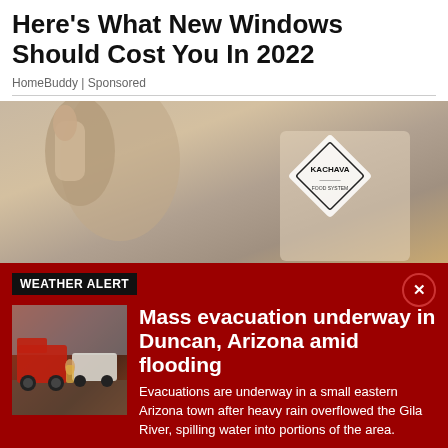Here's What New Windows Should Cost You In 2022
HomeBuddy | Sponsored
[Figure (photo): Woman drinking from a bottle, holding a Kachava product bag]
WEATHER ALERT
[Figure (photo): Fire trucks and emergency personnel at a flooding scene]
Mass evacuation underway in Duncan, Arizona amid flooding
Evacuations are underway in a small eastern Arizona town after heavy rain overflowed the Gila River, spilling water into portions of the area.